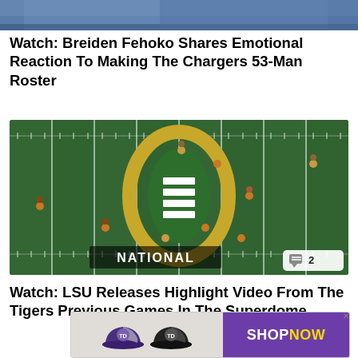[Figure (photo): Partial photo of a person, top of page, cropped]
Watch: Breiden Fehoko Shares Emotional Reaction To Making The Chargers 53-Man Roster
[Figure (screenshot): Aerial view of football field with College Football Playoff National Championship logo at center, players visible, comment badge showing '2']
Watch: LSU Releases Highlight Video From The Tigers Previous Games In The Superdome
[Figure (photo): Advertisement banner showing two hats (purple and black with TD logo) and a SHOP NOW button on purple background]